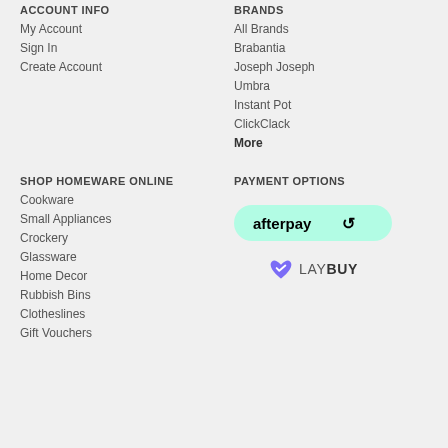ACCOUNT INFO
My Account
Sign In
Create Account
BRANDS
All Brands
Brabantia
Joseph Joseph
Umbra
Instant Pot
ClickClack
More
SHOP HOMEWARE ONLINE
Cookware
Small Appliances
Crockery
Glassware
Home Decor
Rubbish Bins
Clotheslines
Gift Vouchers
PAYMENT OPTIONS
[Figure (logo): Afterpay logo — black text on mint green rounded rectangle badge]
[Figure (logo): Laybuy logo — purple heart icon next to LAY BUY text]